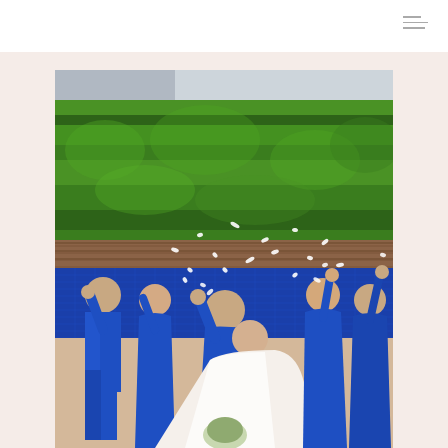[Figure (photo): Wedding party photo outdoors. Bride and groom kissing in center, groom wearing blue suit, bride in white dress. Bridesmaids in royal blue gowns and a groomsman on the left also in blue suit. Everyone tossing white flower petals in the air with arms raised. Background is a large green hedge wall and blue tile pool/fountain area.]